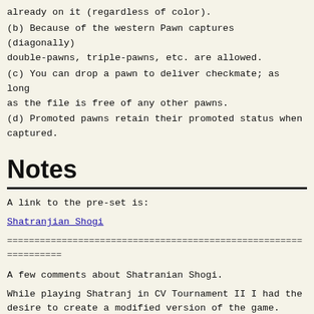already on it (regardless of color).
(b) Because of the western Pawn captures (diagonally) double-pawns, triple-pawns, etc. are allowed.
(c) You can drop a pawn to deliver checkmate; as long as the file is free of any other pawns.
(d) Promoted pawns retain their promoted status when captured.
Notes
A link to the pre-set is:
Shatranjian Shogi
================================================================
A few comments about Shatranian Shogi.
While playing Shatranj in CV Tournament II I had the desire to create a modified version of the game. However, friend and game-inventor Joe Joyce created his